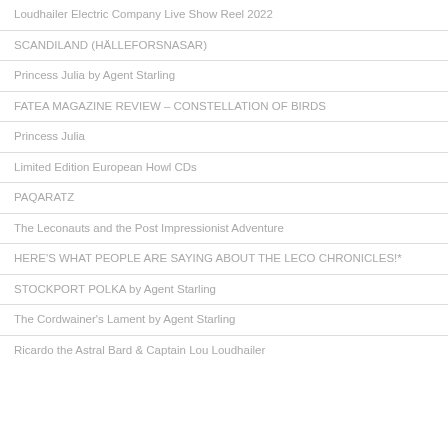Loudhailer Electric Company Live Show Reel 2022
SCANDILAND (HÄLLEFORSNASAR)
Princess Julia by Agent Starling
FATEA MAGAZINE REVIEW – CONSTELLATION OF BIRDS
Princess Julia
Limited Edition European Howl CDs
PAQARATZ
The Leconauts and the Post Impressionist Adventure
HERE'S WHAT PEOPLE ARE SAYING ABOUT THE LECO CHRONICLES!*
STOCKPORT POLKA by Agent Starling
The Cordwainer's Lament by Agent Starling
Ricardo the Astral Bard & Captain Lou Loudhailer